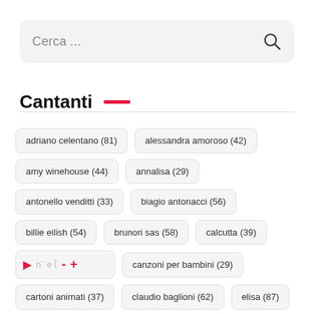[Figure (screenshot): Search bar with placeholder text 'Cerca ...' and a search icon on the right]
Cantanti
adriano celentano (81)
alessandra amoroso (42)
amy winehouse (44)
annalisa (29)
antonello venditti (33)
biagio antonacci (56)
billie eilish (54)
brunori sas (58)
calcutta (39)
canzoni per bambini (29)
cartoni animati (37)
claudio baglioni (62)
elisa (87)
emma marrone (33)
eros ramazzotti (49)